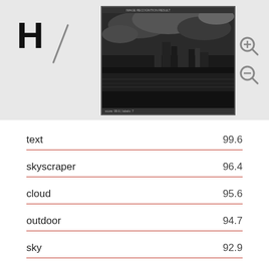[Figure (screenshot): Application header bar with H/ logo on left and a black-and-white preview image of a cityscape/skyline (skyscrapers, clouds, outdoor landscape) in the center, with zoom in/out controls on the right.]
| label | score |
| --- | --- |
| text | 99.6 |
| skyscraper | 96.4 |
| cloud | 95.6 |
| outdoor | 94.7 |
| sky | 92.9 |
| landscape | 91.7 |
| black and white | 90.2 |